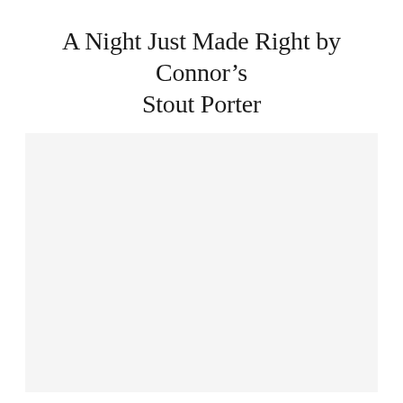A Night Just Made Right by Connor’s Stout Porter
30/03/2016  -  NO COMMENTS
[Figure (photo): A large light gray/off-white placeholder image area occupying the lower three-quarters of the page, with no visible content.]